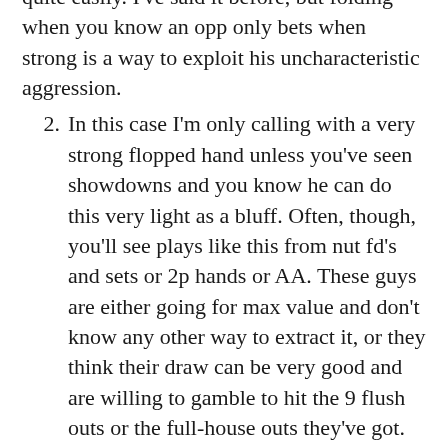quite easily. I've said it before, but folding when you know an opp only bets when strong is a way to exploit his uncharacteristic aggression.
In this case I'm only calling with a very strong flopped hand unless you've seen showdowns and you know he can do this very light as a bluff. Often, though, you'll see plays like this from nut fd's and sets or 2p hands or AA. These guys are either going for max value and don't know any other way to extract it, or they think their draw can be very good and are willing to gamble to hit the 9 flush outs or the full-house outs they've got.  Take note of these types of players and act accordingly in the future. Let's say “TrappyTom” does this and you open with JJ.  You know “TrappyTom” will call with any PP and is capable of playing